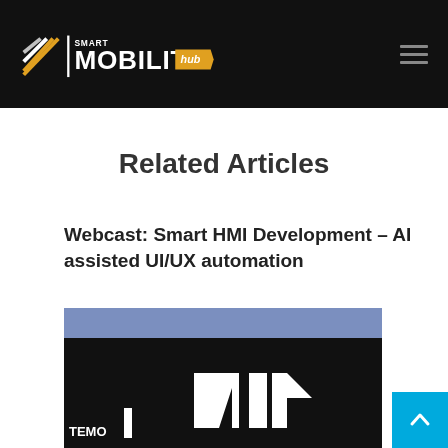Smart Mobility Hub
Related Articles
Webcast: Smart HMI Development – AI assisted UI/UX automation
[Figure (screenshot): Partial screenshot of a webcast thumbnail with blue and black background, showing partial text and logo]